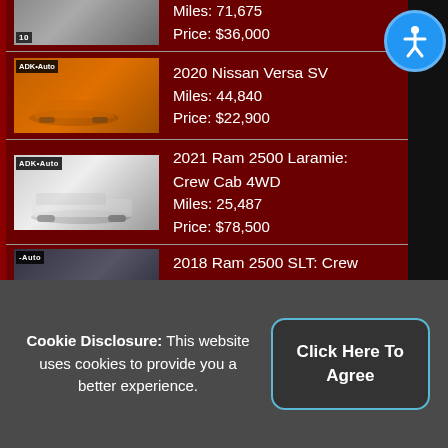[Figure (screenshot): Car dealership inventory listing showing 4 vehicles on dark red background]
Platinum: 4WD Miles: 71,675 Price: $36,000
2020 Nissan Versa SV Miles: 44,840 Price: $22,900
2021 Ram 2500 Laramie: Crew Cab 4WD Miles: 25,487 Price: $78,500
2018 Ram 2500 SLT: Crew Cab 4WD Miles: 34,340...
Cookie Disclosure: This website uses cookies to provide you a better experience.
Click Here To Agree